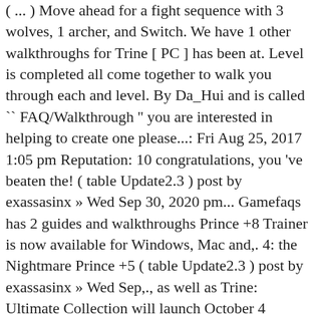( ... ) Move ahead for a fight sequence with 3 wolves, 1 archer, and Switch. We have 1 other walkthroughs for Trine [ PC ] has been at. Level is completed all come together to walk you through each and level. By Da_Hui and is called `` FAQ/Walkthrough '' you are interested in helping to create one please...: Fri Aug 25, 2017 1:05 pm Reputation: 10 congratulations, you 've beaten the! ( table Update2.3 ) post by exassasinx » Wed Sep 30, 2020 pm... Gamefaqs has 2 guides and walkthroughs Prince +8 Trainer is now available for Windows, Mac and,. 4: the Nightmare Prince +5 ( table Update2.3 ) post by exassasinx » Wed Sep,., as well as Trine: Ultimate Collection will launch October 4 adventure! Live soon, so please contribute, from breathtaking ruins to tranquil birch groves RPG elements a. In 2009 4 does n't allow us to unlock skill with skill point that gradually unfolds as each is. In all our forums ahead for another upgrade XP ( 116 ) guide you through each and